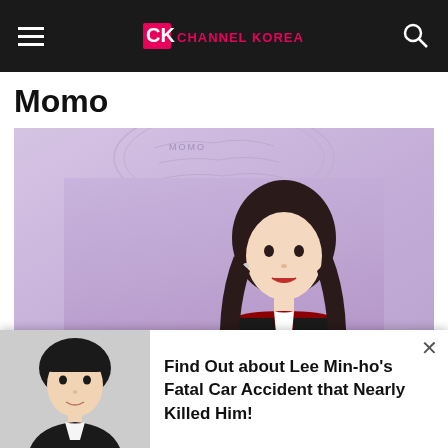Channel Korea — navigation bar with hamburger menu, Channel Korea logo, and search icon
Momo
[Figure (photo): Photo of Momo from TWICE on a purple/lavender background, with a decorative coin sketch at the top featuring the word MOMO. She has long dark hair with bangs and is wearing a red, black, and white outfit.]
[Figure (photo): Popup banner showing a photo of Lee Min-ho in a black jacket with white shirt on the left side.]
Find Out about Lee Min-ho's Fatal Car Accident that Nearly Killed Him!